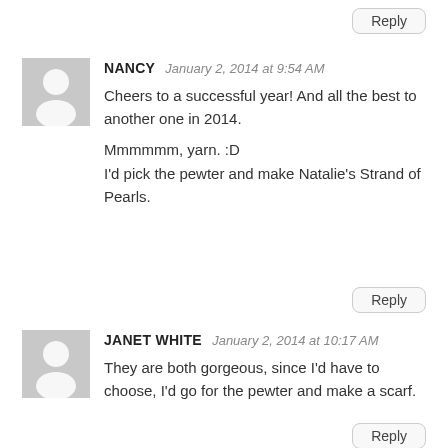Reply
[Figure (illustration): Gray avatar placeholder showing a white silhouette of a person (head and shoulders) on a gray background]
NANCY  January 2, 2014 at 9:54 AM
Cheers to a successful year! And all the best to another one in 2014.

Mmmmmm, yarn. :D
I'd pick the pewter and make Natalie's Strand of Pearls.
Reply
[Figure (illustration): Gray avatar placeholder showing a white silhouette of a person (head and shoulders) on a gray background]
JANET WHITE  January 2, 2014 at 10:17 AM
They are both gorgeous, since I'd have to choose, I'd go for the pewter and make a scarf.
Reply